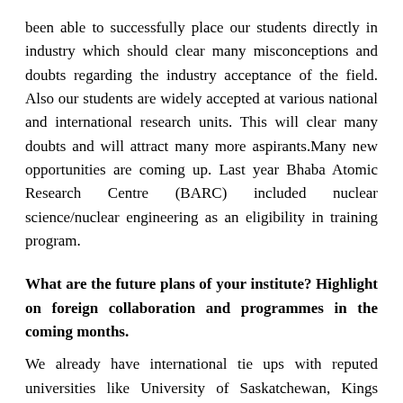been able to successfully place our students directly in industry which should clear many misconceptions and doubts regarding the industry acceptance of the field. Also our students are widely accepted at various national and international research units. This will clear many doubts and will attract many more aspirants.Many new opportunities are coming up. Last year Bhaba Atomic Research Centre (BARC) included nuclear science/nuclear engineering as an eligibility in training program.
What are the future plans of your institute? Highlight on foreign collaboration and programmes in the coming months.
We already have international tie ups with reputed universities like University of Saskatchewan, Kings College London, Texas A&M University. We are member of the International Atomic Energy Agency (IAEA), Vienna, Austria. We also conduct programmes on various aspects of nuclear science for both students and faculty in